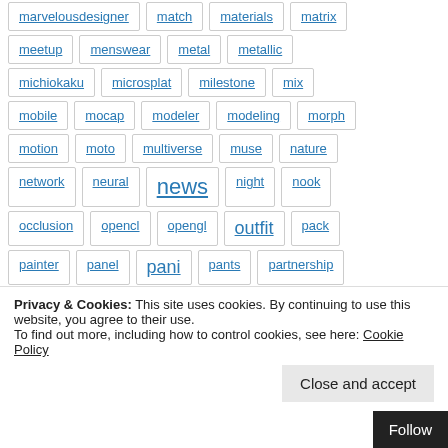marvelousdesigner, match, materials, matrix
meetup, menswear, metal, metallic
michiokaku, microsplat, milestone, mix
mobile, mocap, modeler, modeling, morph
motion, moto, multiverse, muse, nature
network, neural, news, night, nook
occlusion, opencl, opengl, outfit, pack
painter, panel, pani, pants, partnership
Privacy & Cookies: This site uses cookies. By continuing to use this website, you agree to their use.
To find out more, including how to control cookies, see here: Cookie Policy
Close and accept
Follow